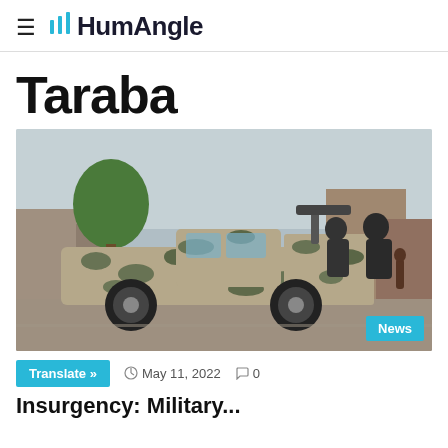HumAngle
Taraba
[Figure (photo): Military pickup truck in camouflage paint with armed soldiers riding in the back, driving through a city street. A large mounted gun is visible in the truck bed.]
News
May 11, 2022  0
Translate »
Insurgency: Military...